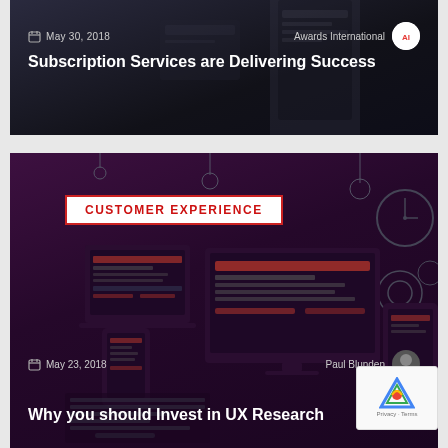[Figure (screenshot): Dark-themed blog card with dark background showing a mobile device, date May 30 2018, Awards International logo, and article title]
May 30, 2018
Awards International
Subscription Services are Delivering Success
[Figure (screenshot): Dark purple-themed blog card with CUSTOMER EXPERIENCE category badge, UI/UX device illustrations, date May 23 2018, Paul Blunden author, and article title]
CUSTOMER EXPERIENCE
May 23, 2018
Paul Blunden
Why you should Invest in UX Research